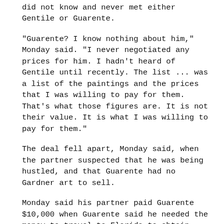did not know and never met either Gentile or Guarente.
"Guarente? I know nothing about him," Monday said. "I never negotiated any prices for him. I hadn't heard of Gentile until recently. The list ... was a list of the paintings and the prices that I was willing to pay for them. That's what those figures are. It is not their value. It is what I was willing to pay for them."
The deal fell apart, Monday said, when the partner suspected that he was being hustled, and that Guarente had no Gardner art to sell.
Monday said his partner paid Guarente $10,000 when Guarente said he needed the money to travel to Florida to obtain whatever art was involved. Monday said he suspects Guarente never went to Florida.